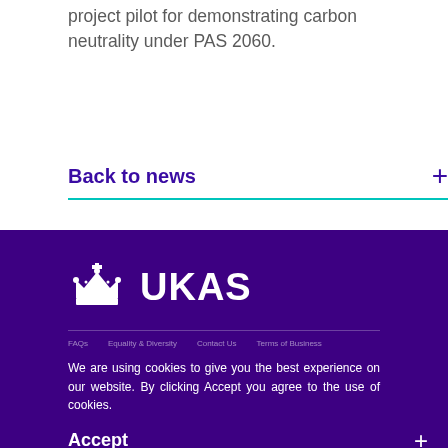project pilot for demonstrating carbon neutrality under PAS 2060.
Back to news
[Figure (logo): UKAS logo with crown and text 'UKAS' in white on purple background]
We are using cookies to give you the best experience on our website. By clicking Accept you agree to the use of cookies.
Accept